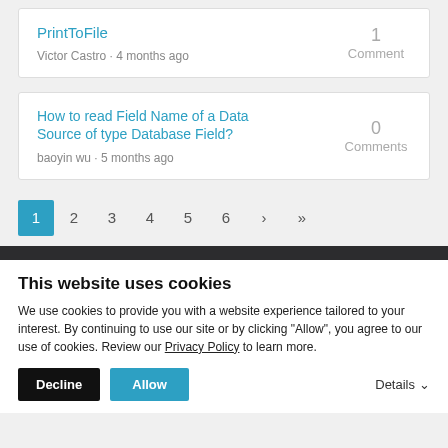PrintToFile
Victor Castro · 4 months ago
1 Comment
How to read Field Name of a Data Source of type Database Field?
baoyin wu · 5 months ago
0 Comments
1 2 3 4 5 6 › »
This website uses cookies
We use cookies to provide you with a website experience tailored to your interest. By continuing to use our site or by clicking "Allow", you agree to our use of cookies. Review our Privacy Policy to learn more.
Decline  Allow  Details